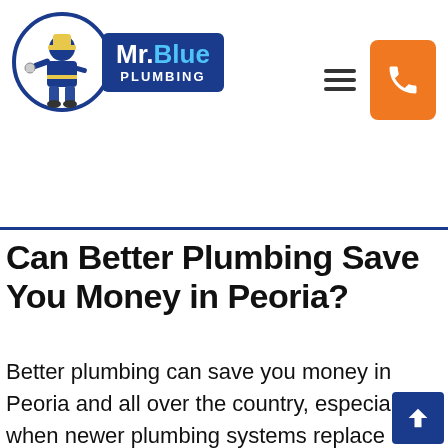[Figure (logo): Mr. Blue Plumbing logo with circular plumber illustration and blue rectangular text badge]
Can Better Plumbing Save You Money in Peoria?
Better plumbing can save you money in Peoria and all over the country, especially when newer plumbing systems replace older and outdated ones. Zinc usually lines older pipes ad that can rust over time. The corrosion leads to many plumbing problems like leaks, clogs, and worse water efficiency. As a result, you